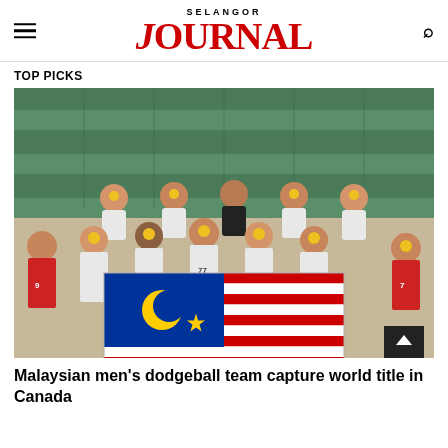SELANGOR JOURNAL
TOP PICKS
[Figure (photo): Malaysian men's dodgeball team posing with the Malaysian flag and gold medals, seated on bleachers in a sports hall in Canada.]
Malaysian men's dodgeball team capture world title in Canada